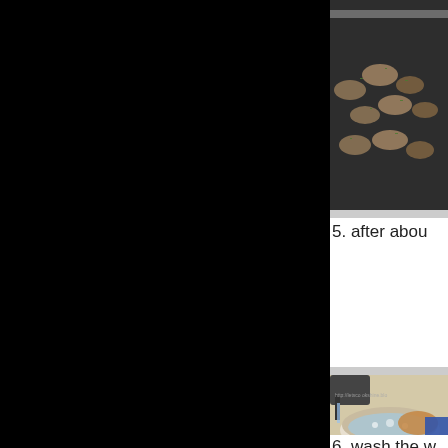[Figure (photo): Food items (potato wedges/mushrooms) on a dark baking tray, partial view cropped at right edge]
5. after abou
[Figure (photo): Person washing something in a bowl of water at a sink, with running water from faucet]
6. wash the w